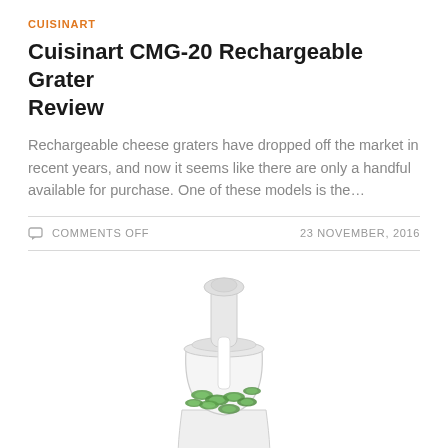CUISINART
Cuisinart CMG-20 Rechargeable Grater Review
Rechargeable cheese graters have dropped off the market in recent years, and now it seems like there are only a handful available for purchase. One of these models is the…
COMMENTS OFF   23 NOVEMBER, 2016
[Figure (photo): A white food processor (Hamilton Beach style) with a clear bowl containing sliced green cucumbers/zucchini, with a white feed tube pusher visible.]